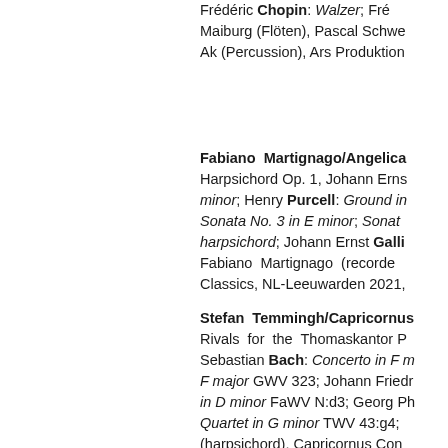Frédéric Chopin: Walzer; Fre... Maiburg (Flöten), Pascal Schwe... Ak (Percussion), Ars Produktion...
Fabiano Martignago/Angelica... Harpsichord Op. 1, Johann Erns... minor; Henry Purcell: Ground i... Sonata No. 3 in E minor; Sonat... harpsichord; Johann Ernst Galli... Fabiano Martignago (recorde... Classics, NL-Leeuwarden 2021,
Stefan Temmingh/Capricornus... Rivals for the Thomaskantor P... Sebastian Bach: Concerto in F m... F major GWV 323; Johann Friedr... in D minor FaWV N:d3; Georg Ph... Quartet in G minor TWV 43:g4;... (harpsichord), Capricornus Con... ACCENT, 2021, 1 CD, ACC24375...